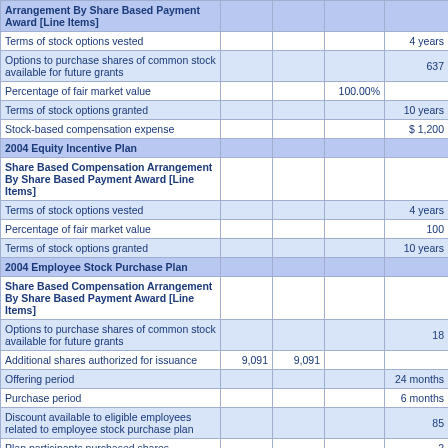|  |  |  |  |  |
| --- | --- | --- | --- | --- |
| Share Based Compensation Arrangement By Share Based Payment Award [Line Items] |  |  |  |  |
| Terms of stock options vested |  |  |  | 4 years |
| Options to purchase shares of common stock available for future grants |  |  |  | 637 |
| Percentage of fair market value |  |  | 100.00% |  |
| Terms of stock options granted |  |  |  | 10 years |
| Stock-based compensation expense |  |  |  | $ 1,200 |
| 2004 Equity Incentive Plan |  |  |  |  |
| Share Based Compensation Arrangement By Share Based Payment Award [Line Items] |  |  |  |  |
| Terms of stock options vested |  |  |  | 4 years |
| Percentage of fair market value |  |  |  | 100 |
| Terms of stock options granted |  |  |  | 10 years |
| 2004 Employee Stock Purchase Plan |  |  |  |  |
| Share Based Compensation Arrangement By Share Based Payment Award [Line Items] |  |  |  |  |
| Options to purchase shares of common stock available for future grants |  |  |  | 18 |
| Additional shares authorized for issuance | 9,091 | 9,091 |  |  |
| Offering period |  |  |  | 24 months |
| Purchase period |  |  |  | 6 months |
| Discount available to eligible employees related to employee stock purchase plan |  |  |  | 85 |
| Plan participants purchased shares |  |  |  | 2 |
| Average purchase price under 2004 Employee Stock Purchase Plan |  |  |  | $ |